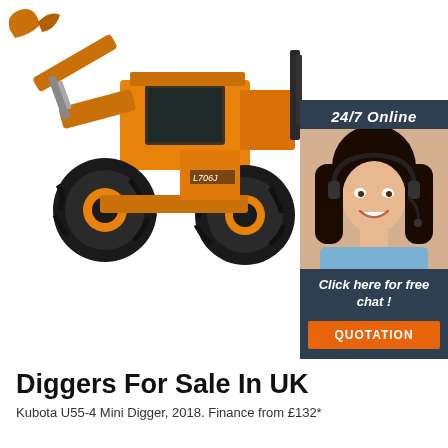[Figure (photo): Yellow wheel loader / heavy construction machine with orange bucket attachment and large black tires on white background]
[Figure (infographic): 24/7 Online chat widget with dark blue/slate background showing a smiling female customer service agent wearing a headset, with text 'Click here for free chat!' and an orange QUOTATION button]
Diggers For Sale In UK
Kubota U55-4 Mini Digger, 2018. Finance from £132*